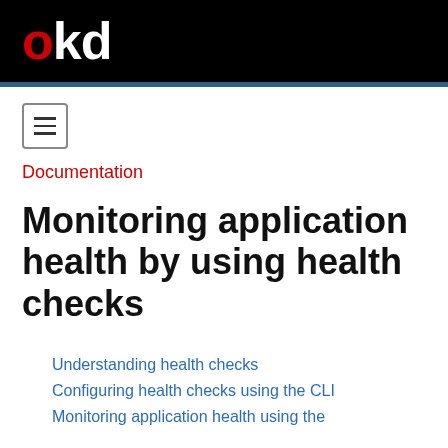okd
[Figure (logo): OKD logo with red 'o' and white 'kd' on black background]
Documentation
Monitoring application health by using health checks
Understanding health checks
Configuring health checks using the CLI
Monitoring application health using the